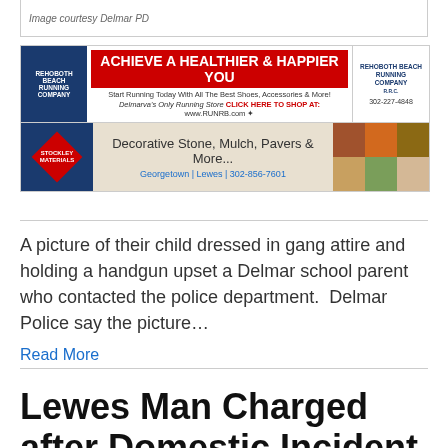Image courtesy Delmar PD
[Figure (infographic): Rehoboth Beach Running Company advertisement: ACHIEVE A HEALTHIER & HAPPIER YOU - Start Running Today With All The Best Shoes, Accessories & More! Delmarva's Only Running Store CLICK HERE TO SHOP AT: www.RUNRB.com • 302-227-4848]
[Figure (infographic): Stockley Materials advertisement: Decorative Stone, Mulch, Pavers & More... Georgetown | Lewes | 302-856-7601]
A picture of their child dressed in gang attire and holding a handgun upset a Delmar school parent who contacted the police department.  Delmar Police say the picture…
Read More
Lewes Man Charged after Domestic Incident